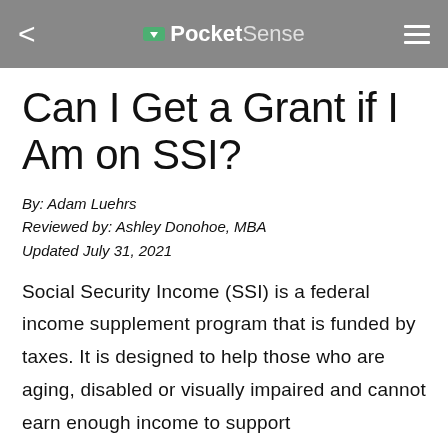PocketSense
Can I Get a Grant if I Am on SSI?
By: Adam Luehrs
Reviewed by: Ashley Donohoe, MBA
Updated July 31, 2021
Social Security Income (SSI) is a federal income supplement program that is funded by taxes. It is designed to help those who are aging, disabled or visually impaired and cannot earn enough income to support